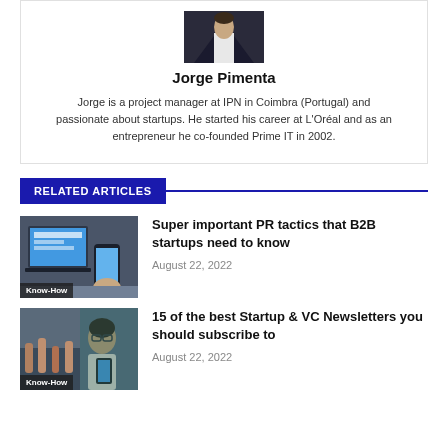[Figure (photo): Cropped portrait photo of Jorge Pimenta in a dark suit with a red tie]
Jorge Pimenta
Jorge is a project manager at IPN in Coimbra (Portugal) and passionate about startups. He started his career at L'Oréal and as an entrepreneur he co-founded Prime IT in 2002.
RELATED ARTICLES
[Figure (photo): Person using a laptop and smartphone, category tag: Know-How]
Super important PR tactics that B2B startups need to know
August 22, 2022
[Figure (photo): Woman with glasses holding a smartphone, category tag: Know-How]
15 of the best Startup & VC Newsletters you should subscribe to
August 22, 2022